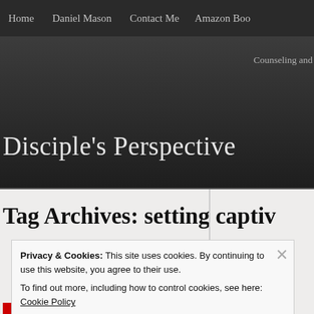Home   Daniel Mason   Contact Me   Amazon Boo
Disciple's Perspective
Counseling and
Tag Archives: setting captiv
Privacy & Cookies: This site uses cookies. By continuing to use this website, you agree to their use.
To find out more, including how to control cookies, see here: Cookie Policy
Close and accept